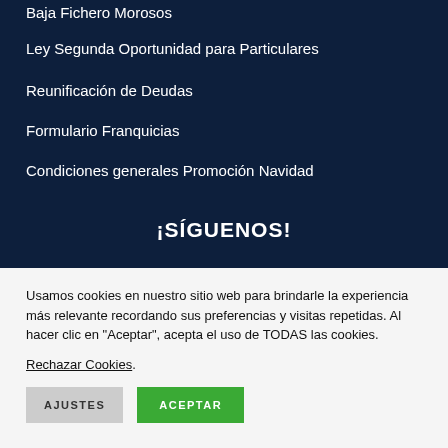Baja Fichero Morosos
Ley Segunda Oportunidad para Particulares
Reunificación de Deudas
Formulario Franquicias
Condiciones generales Promoción Navidad
¡SÍGUENOS!
Usamos cookies en nuestro sitio web para brindarle la experiencia más relevante recordando sus preferencias y visitas repetidas. Al hacer clic en "Aceptar", acepta el uso de TODAS las cookies.
Rechazar Cookies.
AJUSTES   ACEPTAR